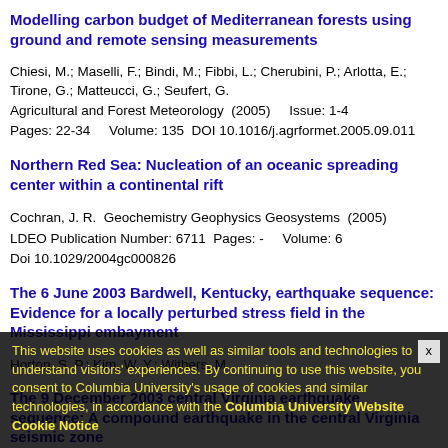Modelling carbon budget of Mediterranean forests using ground and remote sensing measurements
Chiesi, M.; Maselli, F.; Bindi, M.; Fibbi, L.; Cherubini, P.; Arlotta, E.; Tirone, G.; Matteucci, G.; Seufert, G.
Agricultural and Forest Meteorology  (2005)    Issue: 1-4
Pages: 22-34    Volume: 135  DOI 10.1016/j.agrformet.2005.09.011
Northern Red Sea: Nucleation of an oceanic spreading center within a continental rift
Cochran, J. R.  Geochemistry Geophysics Geosystems  (2005)
LDEO Publication Number: 6711  Pages: -    Volume: 6
Doi 10.1029/2004gc000826
The 6 June 2003 Bardwell, Kentucky, earthquake sequence: Evidence for a locally perturbed stress field in the Mississippi embayment
Horton, S. P.; Kim, W. Y.; Withers, M.
Bulletin of the Seismological Society of America  (2005)    Issue: 3
Pages: 431-445  Volume: 95
The 9 December 2003 central Virginia earthquake sequence: A compound earthquake in the central Virginia seismic zone
Kim, W. Y.; Chapman, M.